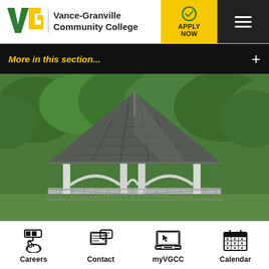[Figure (logo): Vance-Granville Community College logo with VG letters in green and gold, college name text, Apply Now button, and hamburger menu]
More in this section...
[Figure (photo): Campus gazebo with white columns and dark shingled roof surrounded by green trees]
[Figure (infographic): Four navigation icons at bottom: Careers (paint roller/hand icon), Contact (envelope/chat icon), myVGCC (laptop icon), Calendar (calendar icon)]